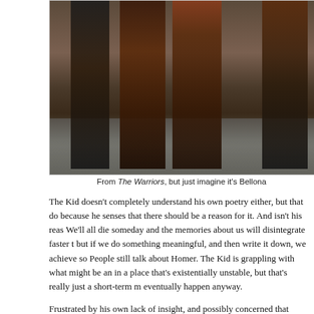[Figure (photo): A photo from The Warriors showing shirtless men walking on a street, presented as if it depicts Bellona]
From The Warriors, but just imagine it's Bellona
The Kid doesn't completely understand his own poetry either, but that does not stop him because he senses that there should be a reason for it. And isn't his reason enough? We'll all die someday and the memories about us will disintegrate faster than our bones, but if we do something meaningful, and then write it down, we achieve some permanence. People still talk about Homer. The Kid is grappling with what might be an existential crisis in a place that's existentially unstable, but that's really just a short-term malady that will eventually happen anyway.
Frustrated by his own lack of insight, and possibly concerned that anything he thinks is delusional, the Kid tries to glean the quality of his poetry from others, eve...